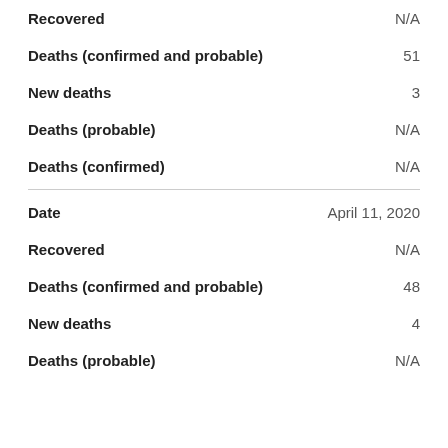| Category | Value |
| --- | --- |
| Recovered | N/A |
| Deaths (confirmed and probable) | 51 |
| New deaths | 3 |
| Deaths (probable) | N/A |
| Deaths (confirmed) | N/A |
| Date | April 11, 2020 |
| Recovered | N/A |
| Deaths (confirmed and probable) | 48 |
| New deaths | 4 |
| Deaths (probable) | N/A |